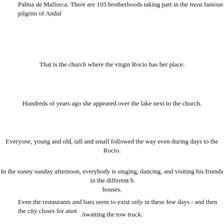Palma de Mallorca. There are 105 brotherhoods taking part in the most famous pilgrim of Andalusia...
That is the church where the virgin Rocio has her place.
Hundreds of years ago she appeared over the lake next to the church.
Everyone, young and old, tall and small followed the way even during days to the Rocio.
In the sunny sunday afternoon, everybody is singing, dancing, and visiting his friends in the different brotherhood houses.
Even the restaurants and bars seem to exist only in these few days - and then the city closes for another year.
Awaiting the tow truck.
Rush hour at 4 pm towards Rocio.